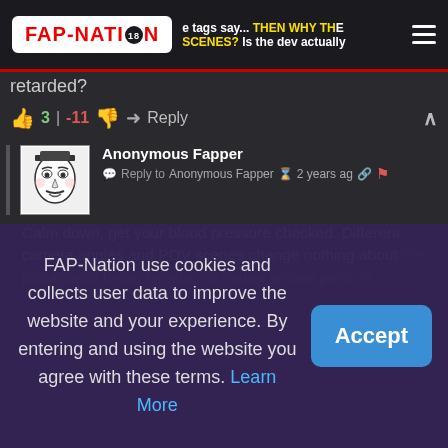FAP-NATION | the tags say... THEN WHY THE FUCK ARE THERE SCENES? Is the dev actually retarded?
retarded?
👍 3 | -11 👎 ➜ Reply ∧
Anonymous Fapper
Reply to Anonymous Fapper  2 years ago
Calm down, get your blood pressure checked. Different camera angles and POV scenes change nothing about the protagonist being female, no matter whose point of
FAP-Nation use cookies and collects user data to improve the website and your experience. By entering and using the website you agree with these terms. Learn More